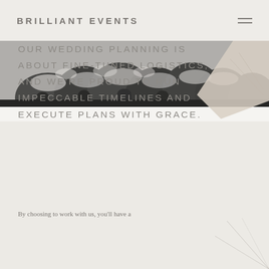BRILLIANT EVENTS
[Figure (photo): Black and white aerial/landscape photo of snow-covered evergreen trees (pine/fir forest) viewed from above or at an angle, wintry scene]
OUR WEDDING PLANNING IS ABOUT FINE-TUNED LOGISTICS, AND WE'RE PROUD TO RUN IMPECCABLE TIMELINES AND EXECUTE PLANS WITH GRACE.
By choosing to work with us, you'll have a